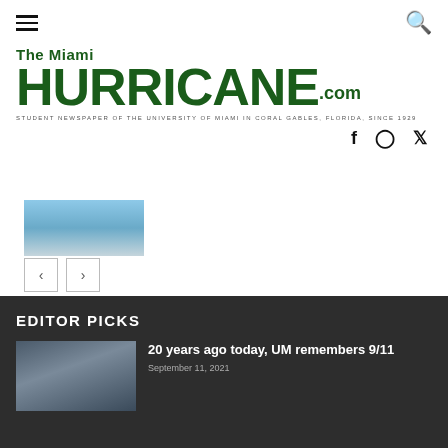The Miami HURRICANE.com — STUDENT NEWSPAPER OF THE UNIVERSITY OF MIAMI IN CORAL GABLES, FLORIDA, SINCE 1929
[Figure (screenshot): Partially visible thumbnail image showing a person in light blue/gray colors against a blue sky background]
[Figure (screenshot): Navigation arrow buttons (left and right) for a slideshow or carousel]
EDITOR PICKS
[Figure (photo): Group of people in white shirts, likely a crowd or gathering]
20 years ago today, UM remembers 9/11
September 11, 2021